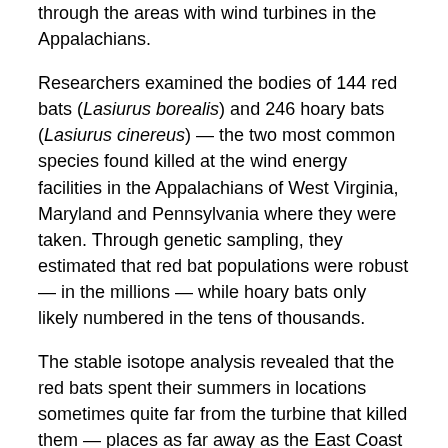through the areas with wind turbines in the Appalachians.
Researchers examined the bodies of 144 red bats (Lasiurus borealis) and 246 hoary bats (Lasiurus cinereus) — the two most common species found killed at the wind energy facilities in the Appalachians of West Virginia, Maryland and Pennsylvania where they were taken. Through genetic sampling, they estimated that red bat populations were robust — in the millions — while hoary bats only likely numbered in the tens of thousands.
The stable isotope analysis revealed that the red bats spent their summers in locations sometimes quite far from the turbine that killed them — places as far away as the East Coast or even the Midwest.
On the other hand the hoary bats mostly summered nearby the turbine areas.
Nelson said that this is only a preliminary study based on a few